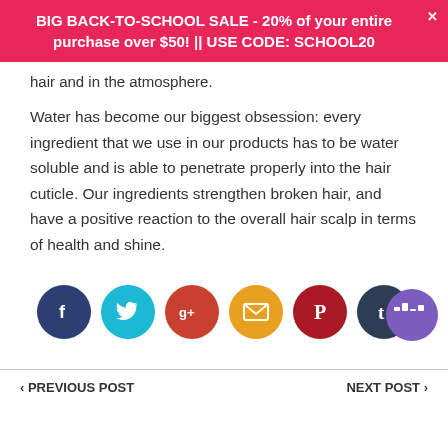BIG BACK-TO-SCHOOL SALE - 20% of your entire purchase over $50! || USE CODE: SCHOOL20
hair and in the atmosphere.
Water has become our biggest obsession: every ingredient that we use in our products has to be water soluble and is able to penetrate properly into the hair cuticle. Our ingredients strengthen broken hair, and have a positive reaction to the overall hair scalp in terms of health and shine.
[Figure (infographic): Six social media share buttons in circles: Facebook (dark blue), Twitter (cyan), Google+ (red-orange), Email (orange), Pinterest (dark red), Tumblr (dark navy). A purple chat/audio bubble icon in bottom right.]
< PREVIOUS POST    NEXT POST >